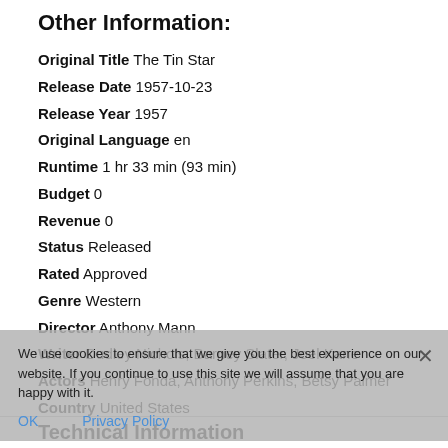Other Information:
Original Title The Tin Star
Release Date 1957-10-23
Release Year 1957
Original Language en
Runtime 1 hr 33 min (93 min)
Budget 0
Revenue 0
Status Released
Rated Approved
Genre Western
Director Anthony Mann
Writer Dudley Nichols, Barney Slater, Joel Kane
Actors Henry Fonda, Anthony Perkins, Betsy Palmer
Country United States
Awards Nominated for 1 Oscar. 2 nominations total
Production Company N/A
Website N/A
We use cookies to ensure that we give you the best experience on our website. If you continue to use this site we will assume that you are happy with it.
OK   Privacy Policy
Technical Information